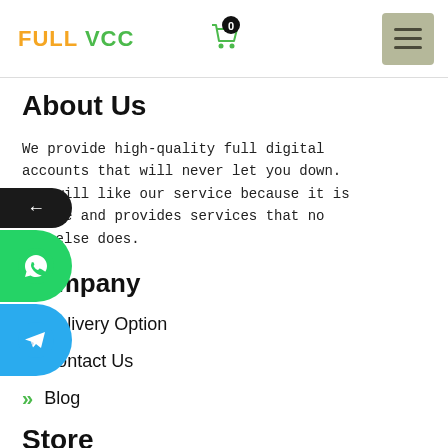FULL VCC
About Us
We provide high-quality full digital accounts that will never let you down. You will like our service because it is unique and provides services that no one else does.
Company
Delivery Option
Contact Us
Blog
Store